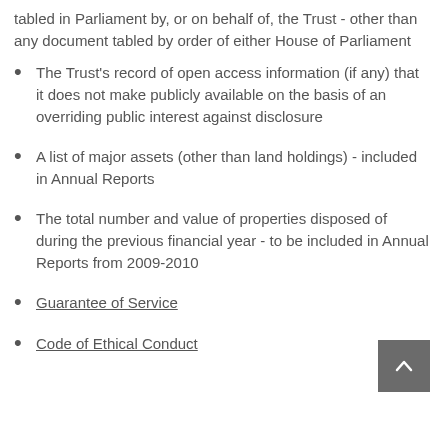tabled in Parliament by, or on behalf of, the Trust - other than any document tabled by order of either House of Parliament
The Trust's record of open access information (if any) that it does not make publicly available on the basis of an overriding public interest against disclosure
A list of major assets (other than land holdings) - included in Annual Reports
The total number and value of properties disposed of during the previous financial year - to be included in Annual Reports from 2009-2010
Guarantee of Service
Code of Ethical Conduct